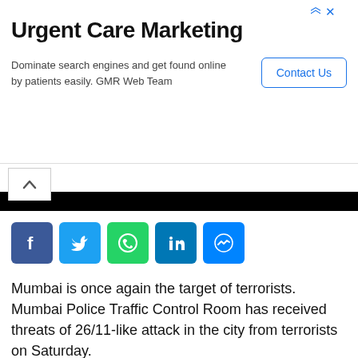[Figure (screenshot): Advertisement banner for Urgent Care Marketing by GMR Web Team with a Contact Us button]
[Figure (screenshot): Navigation bar with up chevron and black strip]
[Figure (infographic): Social media share icons: Facebook, Twitter, WhatsApp, LinkedIn, Messenger]
Mumbai is once again the target of terrorists. Mumbai Police Traffic Control Room has received threats of 26/11-like attack in the city from terrorists on Saturday.
According to the report, a threatening message has been sent through WhatsApp. It is being said that this threat has been received from the neighboring country of Pakistan. The sender did not specify when the attacks would be carried out.